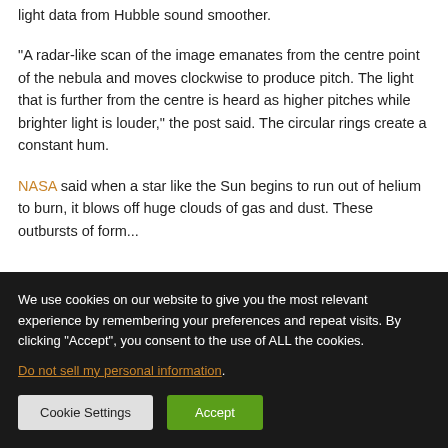light data from Hubble sound smoother.
"A radar-like scan of the image emanates from the centre point of the nebula and moves clockwise to produce pitch. The light that is further from the centre is heard as higher pitches while brighter light is louder," the post said. The circular rings create a constant hum.
NASA said when a star like the Sun begins to run out of helium to burn, it blows off huge clouds of gas and dust. These outbursts of form...
We use cookies on our website to give you the most relevant experience by remembering your preferences and repeat visits. By clicking "Accept", you consent to the use of ALL the cookies.
Do not sell my personal information.